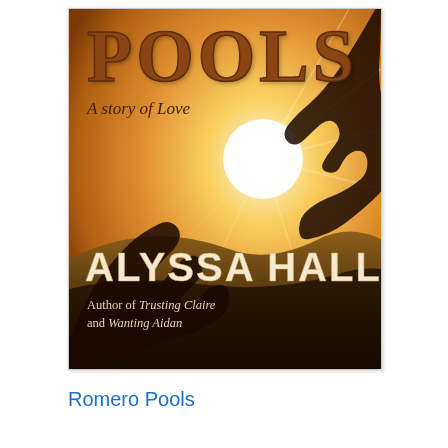[Figure (illustration): Book cover for 'Romero Pools: A story of Love' by Alyssa Hall. Shows two silhouetted hands reaching toward each other against a golden sunset background with bright sun rays. Title 'POOLS' in large brown textured letters at top, subtitle 'A story of Love' below in dark text, author name 'ALYSSA HALL' in large cream/white letters at bottom, with tagline 'Author of Trusting Claire and Wanting Aidan'.]
Romero Pools